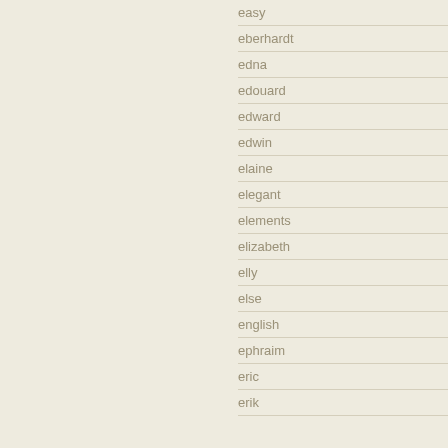easy
eberhardt
edna
edouard
edward
edwin
elaine
elegant
elements
elizabeth
elly
else
english
ephraim
eric
erik